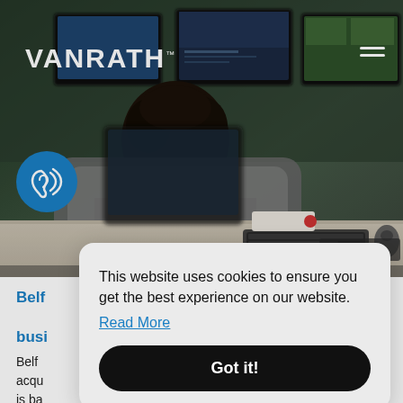[Figure (photo): A person sitting in an office chair, viewed from behind, working at a multi-monitor workstation displaying maps and software interfaces in a control room setting.]
VANRATH™
[Figure (illustration): Blue circular accessibility icon featuring a white ear/hearing symbol with sound waves.]
Belfast-based tech recruitment company uses Workday to boost business growth
Belfast-based tech recruitment company VANRATH has acquired Workday specialist Workday Services and is ba... digital technology company and Workday Services
This website uses cookies to ensure you get the best experience on our website.
Read More
Got it!